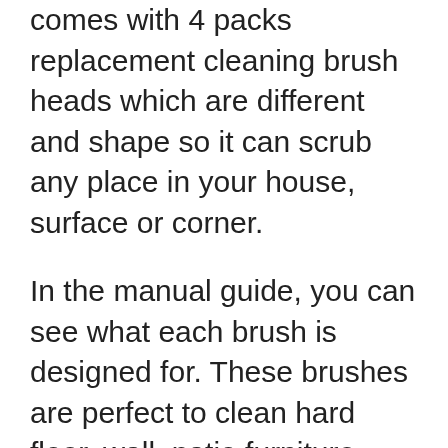comes with 4 packs replacement cleaning brush heads which are different and shape so it can scrub any place in your house, surface or corner.
In the manual guide, you can see what each brush is designed for. These brushes are perfect to clean hard floor, wall, patio furniture, pool, stove, grill, bathtub, sink, toilet, tile grout, edges, corners, and all tight places.
Therefore, no matter what you are cleaning you have the right brush for it.  Not to mention that these brushes are waterproof, really durable, and designed with care not to scratch any surface it cleans. You can always add detergent if you are a fan, it will work even better!